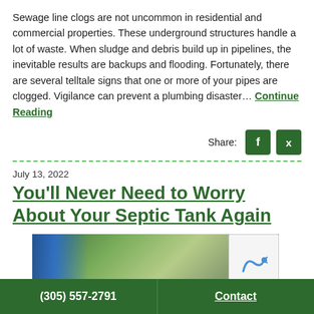Sewage line clogs are not uncommon in residential and commercial properties. These underground structures handle a lot of waste. When sludge and debris build up in pipelines, the inevitable results are backups and flooding. Fortunately, there are several telltale signs that one or more of your pipes are clogged. Vigilance can prevent a plumbing disaster… Continue Reading
Share:
July 13, 2022
You'll Never Need to Worry About Your Septic Tank Again
[Figure (photo): Outdoor photo showing a person in blue clothing near green landscaped area with trees and a septic tank lid visible]
(305) 557-2791    Contact